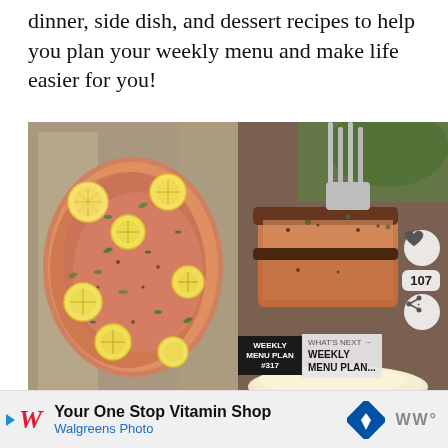dinner, side dish, and dessert recipes to help you plan your weekly menu and make life easier for you!
[Figure (photo): Two food photos side by side: left shows baked salmon on foil topped with lemon slices and herbs; right shows grilled pork chops being lifted with a fork, with a heart icon, share count of 107, share button, and a 'Weekly Menu Plan #317' banner with 'What's Next → Weekly Menu Plan...' overlay]
Your One Stop Vitamin Shop
Walgreens Photo